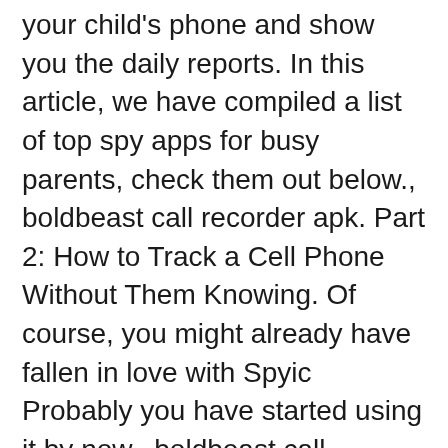your child's phone and show you the daily reports. In this article, we have compiled a list of top spy apps for busy parents, check them out below., boldbeast call recorder apk. Part 2: How to Track a Cell Phone Without Them Knowing. Of course, you might already have fallen in love with Spyic Probably you have started using it by now., boldbeast call recorder cracked sis. Want to know its features? Here they are: Customize Home Screen with Allowed Apps Select Time Limit for Screen Usage Block Any Number Censor Inappropriate Content Disable Wireless Signals, boldbeast call recorder keygen. After root the phone please use following settings to record calls: – Record Mode: 1 – Fix Recording Issues – Change Audio Controls: Yes – Fix Recording Issues – Start Input Stream: No, boldbeast call recorder for iphone. I'm little bit worried about this, boldbeast call recorder cracked. Attachments. , boldbeast call recorder review. The features it provides the user for making an automatic recording of calls at a high voice quality As the name suggests, it will enable the automatic recording of calls recording. Provided following about